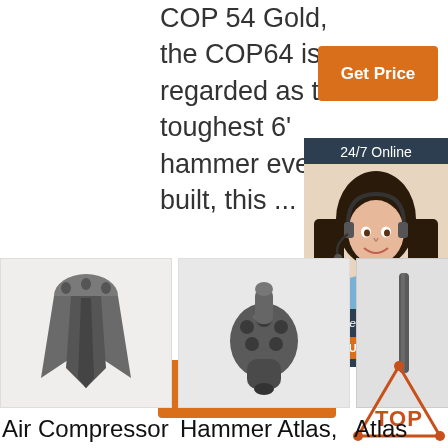COP 54 Gold, the COP64 is regarded as the toughest 6' hammer ever built, this ...
[Figure (other): Orange 'Get Price' button (top right)]
[Figure (other): 24/7 Online chat box with customer service agent and QUOTATION button]
[Figure (other): Orange 'Get Price' button (center)]
[Figure (photo): Air compressor tooth/bucket attachment product image]
Air Compressor -
[Figure (photo): Hammer Atlas drill bit product image]
Hammer Atlas,
[Figure (photo): Atlas Copco XATS68 product partial image]
Atlas Copco XATS68
[Figure (logo): TOP logo with orange triangle and dots]